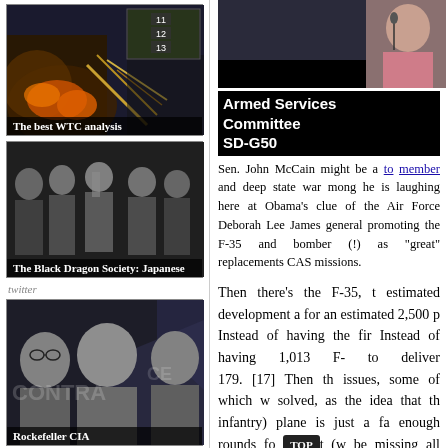[Figure (photo): WTC analysis video thumbnail with numbered overlays 11, 12, 13 and explosion imagery; label reads 'The best WTC analysis']
[Figure (photo): Black and white photo of Japanese men in suits; label reads 'The Black Dragon Society: Japanese']
twitter
[Figure (photo): Black and white photo of three men including Rockefeller; label reads 'Rockefeller CIA']
[Figure (photo): Armed Services Committee SD-G50 hearing room with woman at microphone]
Armed Services Committee SD-G50
Sen. John McCain might be a to member and deep state war mong he is laughing here at Obama's clue of the Air Force Deborah Lee James general promoting the F-35 and bomber (!) as "great" replacements CAS missions.
Then there's the F-35, t estimated development a for an estimated 2,500 p Instead of having the fir Instead of having 1,013 F- to deliver 179. [17] Then th issues, some of which w solved, as the idea that th infantry) plane is just a fa enough rounds fo TOP t (w be missing all kinds of c